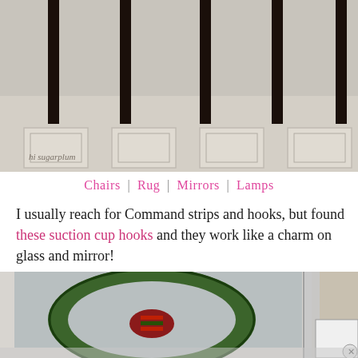[Figure (photo): Close-up photo of dark chair legs on a patterned area rug with geometric/herringbone design and framed panel sections. Watermark reads 'hi sugarplum' in lower left corner.]
Chairs | Rug | Mirrors | Lamps
I usually reach for Command strips and hooks, but found these suction cup hooks and they work like a charm on glass and mirror!
[Figure (photo): Close-up photo of a beveled mirror reflecting a green boxwood Christmas wreath with a red plaid ribbon bow. The mirror has a chrome/silver frame. A small advertisement box is partially visible in the bottom right corner.]